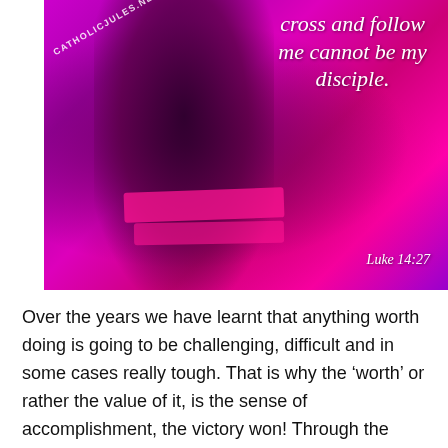[Figure (illustration): Purple and magenta toned image of a person carrying a cross, with white italic scripture quote overlay: 'cross and follow me cannot be my disciple. Luke 14:27' and watermark 'CATHOLICJULES.NET']
Over the years we have learnt that anything worth doing is going to be challenging, difficult and in some cases really tough. That is why the ‘worth’ or rather the value of it, is the sense of accomplishment, the victory won! Through the blood, sweat and tears figuratively or not.   Often enough when we look back at the beginning of it all, we will recall just how reluctant we were to even take up the